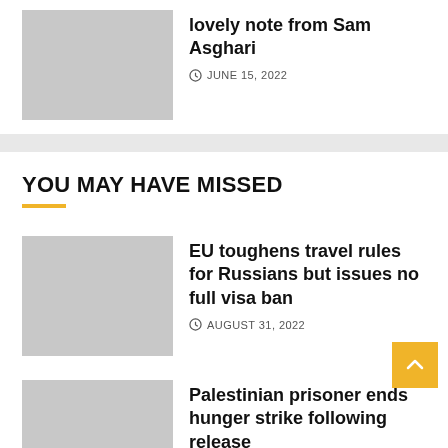lovely note from Sam Asghari
JUNE 15, 2022
YOU MAY HAVE MISSED
EU toughens travel rules for Russians but issues no full visa ban
AUGUST 31, 2022
Palestinian prisoner ends hunger strike following release